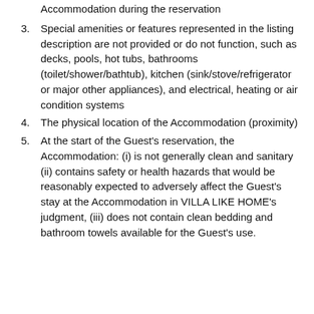Special amenities or features represented in the listing description are not provided or do not function, such as decks, pools, hot tubs, bathrooms (toilet/shower/bathtub), kitchen (sink/stove/refrigerator or major other appliances), and electrical, heating or air condition systems
The physical location of the Accommodation (proximity)
At the start of the Guest's reservation, the Accommodation: (i) is not generally clean and sanitary (ii) contains safety or health hazards that would be reasonably expected to adversely affect the Guest's stay at the Accommodation in VILLA LIKE HOME's judgment, (iii) does not contain clean bedding and bathroom towels available for the Guest's use.
Accommodation during the reservation